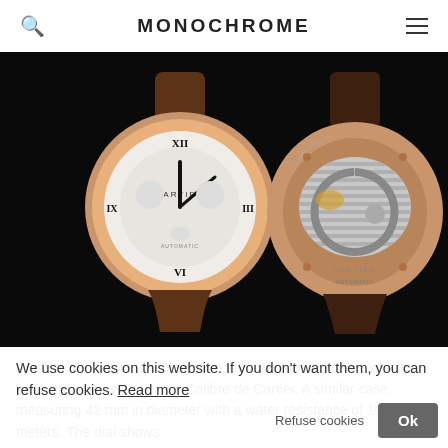MONOCHROME
[Figure (photo): Two Cartier watches shown side by side on black background: left shows the front dial (white face with Roman numerals, chronograph subdials, rose gold case, brown leather strap), right shows the caseback with visible movement and Cartier engravings, rose gold case, brown rubber strap.]
And before I forget it, there's also the dial side and case, which both strongly remind of the Calibre de Cartier. A similar case, measuring 42 mm in diameter with a water resistance of 100 meters. The dial shows
We use cookies on this website. If you don't want them, you can refuse cookies. Read more
Refuse cookies
Ok